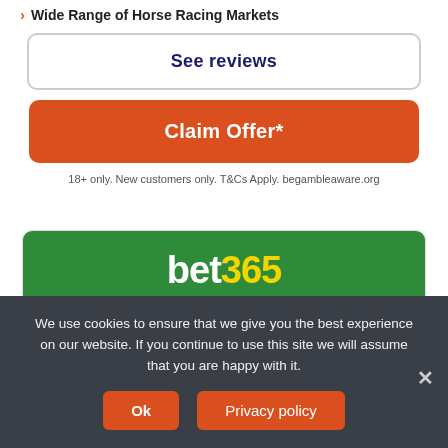Wide Range of Horse Racing Markets
See reviews
Claim Offer*
18+ only. New customers only. T&Cs Apply. begambleaware.org
[Figure (logo): bet365 logo on green background]
[Figure (infographic): Five yellow star rating]
Bet £10 Get £50 in Free Bets
We use cookies to ensure that we give you the best experience on our website. If you continue to use this site we will assume that you are happy with it.
Ok
Privacy policy